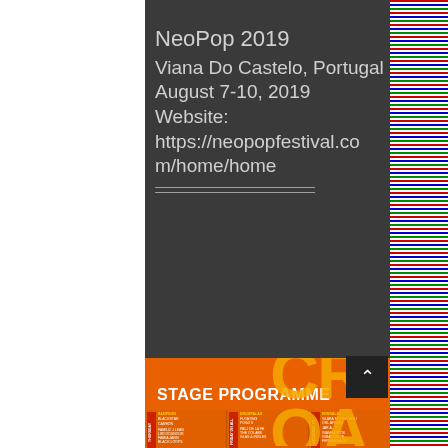NeoPop 2019
Viana Do Castelo, Portugal
August 7-10, 2019
Website:
https://neopopfestival.com/home/home
STAGE PROGRAMME
[Figure (infographic): Festival schedule grid showing Thursday, Friday, and Saturday columns with artist names in small text on orange background]
[Figure (illustration): Vertical multicolored stripes bar on the right side of the page (red, green, blue, white repeating horizontal lines)]